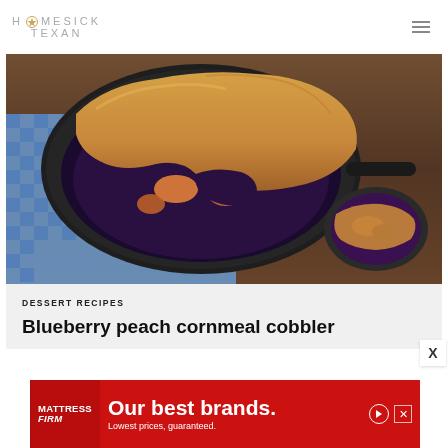HOMESICK TEXAN
[Figure (photo): A cast iron skillet with blueberry peach cornmeal cobbler, with a portion scooped out revealing fruit filling, served on a blue checkered cloth on a wooden surface. A small bowl of the cobbler is visible in the lower right.]
DESSERT RECIPES
Blueberry peach cornmeal cobbler
[Figure (advertisement): Mattress Firm advertisement banner: 'Our best brands. Lowest prices, guaranteed.']